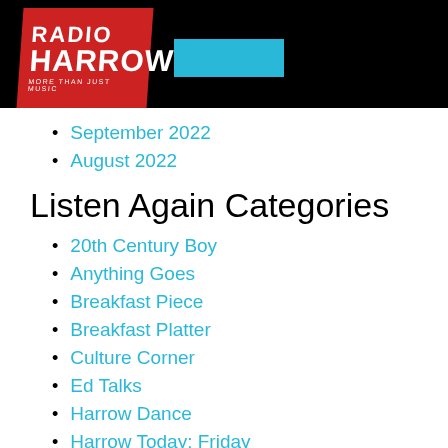[Figure (logo): Radio Harrow logo on black header bar with red diagonal background, white text saying RADIO HARROW MORE THAN JUST MUSIC, and a blue rectangle beside it]
September 2022
August 2022
Listen Again Categories
20th Century Boy
Anything Goes
Breakfast Piece
Breakfast Platter
Culture Corner
Ed Talks
Harrow Dance
Harrow Today: Friday
Harrow Today: Monday